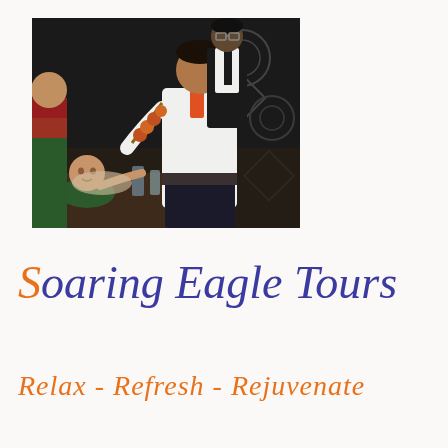[Figure (photo): Restaurant dining scene: a waiter in a white shirt serves skewered food to a young boy seated at a table. Another person in formal attire stands in the background. Dark decorative wall with circular patterns visible.]
Soaring Eagle Tours
Relax - Refresh - Rejuvenate